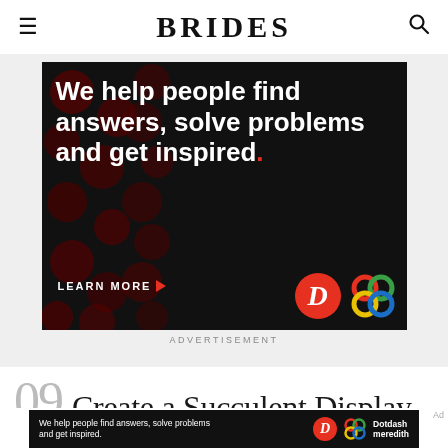BRIDES
[Figure (screenshot): Advertisement banner with dark background and red dot pattern. Text reads: 'We help people find answers, solve problems and get inspired.' with 'LEARN MORE' button and Dotdash Meredith logos.]
ADVERTISEMENT
09 Create a Succulent Display
of 48
[Figure (screenshot): Small advertisement banner: 'We help people find answers, solve problems and get inspired.' with Dotdash Meredith logo on dark background.]